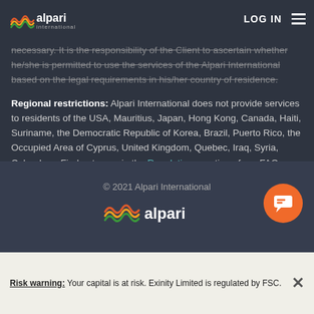LOG IN [menu]
necessary. It is the responsibility of the Client to ascertain whether he/she is permitted to use the services of the Alpari International based on the legal requirements in his/her country of residence.
Regional restrictions: Alpari International does not provide services to residents of the USA, Mauritius, Japan, Hong Kong, Canada, Haiti, Suriname, the Democratic Republic of Korea, Brazil, Puerto Rico, the Occupied Area of Cyprus, United Kingdom, Quebec, Iraq, Syria, Cuba, Iran. Find out more in the Regulations section of our FAQs.
© 2021 Alpari International
Risk warning: Your capital is at risk. Exinity Limited is regulated by FSC.